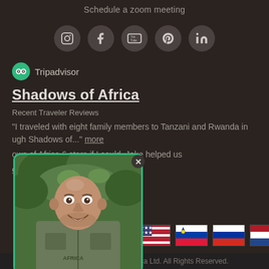Schedule a zoom meeting
[Figure (infographic): Row of 5 social media icons (Instagram, Facebook, YouTube, Pinterest, LinkedIn) as circular dark buttons with light icons]
[Figure (logo): Tripadvisor logo with green owl icon and 'Tripadvisor' text]
Shadows of Africa
Recent Traveler Reviews
"I traveled with eight family members to Tanzani and Rwanda in ugh Shadows of..." more
ows of Africa 6 stars if I could. Jake helped us
e a review
[Figure (photo): Photo of a bald man in a green Africa safari vest, smiling, outdoors with trees. Photo has a green border and rounded corners with an X close button.]
[Figure (infographic): Row of national flags: USA, Slovenia, Russia, Netherlands, China]
© 2010 - 2022 Shadows Of Africa Ltd. All Rights Reserved.